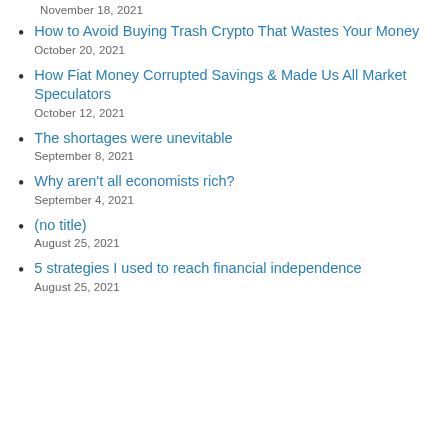November 18, 2021
How to Avoid Buying Trash Crypto That Wastes Your Money
October 20, 2021
How Fiat Money Corrupted Savings & Made Us All Market Speculators
October 12, 2021
The shortages were unevitable
September 8, 2021
Why aren't all economists rich?
September 4, 2021
(no title)
August 25, 2021
5 strategies I used to reach financial independence
August 25, 2021